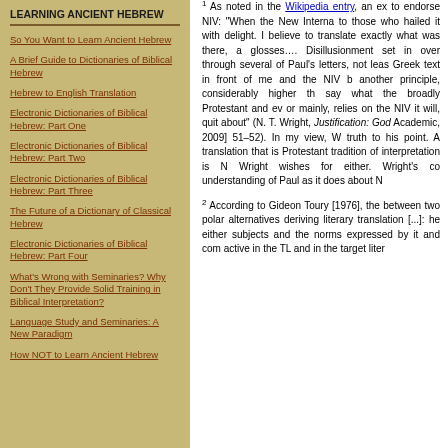LEARNING ANCIENT HEBREW
So You Want to Learn Ancient Hebrew
A Brief Guide to Dictionaries of Biblical Hebrew
Hebrew to English Translation
Electronic Dictionaries of Biblical Hebrew: Part One
Electronic Dictionaries of Biblical Hebrew: Part Two
Electronic Dictionaries of Biblical Hebrew: Part Three
The Future of a Dictionary of Classical Hebrew
Electronic Dictionaries of Biblical Hebrew: Part Four
What's Wrong with Seminaries? Why Don't They Provide Solid Training in Biblical Interpretation?
Language Study and Seminaries: A New Paradigm
How NOT to Learn Ancient Hebrew
1 As noted in the Wikipedia entry, an exc... to endorse NIV: "When the New Interna... those who hailed it with delight. I believe... to translate exactly what was there, a glosses.... Disillusionment set in over ... through several of Paul's letters, not leas... Greek text in front of me and the NIV b... another principle, considerably higher th... say what the broadly Protestant and eva... or mainly, relies on the NIV it will, quit... about" (N. T. Wright, Justification: Go... Academic, 2009] 51–52). In my view, W... truth to his point. A translation that is ... Protestant tradition of interpretation is N... Wright wishes for either. Wright's co... understanding of Paul as it does about N...
2 According to Gideon Toury [1976], the ... between two polar alternatives deriving... literary translation [...]: he either subjects... and the norms expressed by it and com... active in the TL and in the target liter...